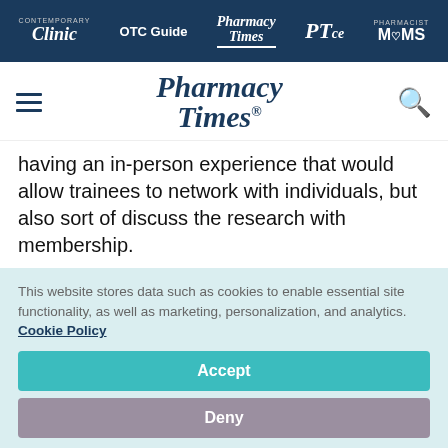Contemporary Clinic | OTC Guide | Pharmacy Times | PTce | Pharmacist MOMS
[Figure (logo): Pharmacy Times logo with hamburger menu and search icon]
having an in-person experience that would allow trainees to network with individuals, but also sort of discuss the research with membership.
The last thing I would like to say too, about the networking experience. I would further state
This website stores data such as cookies to enable essential site functionality, as well as marketing, personalization, and analytics. Cookie Policy
Accept
Deny